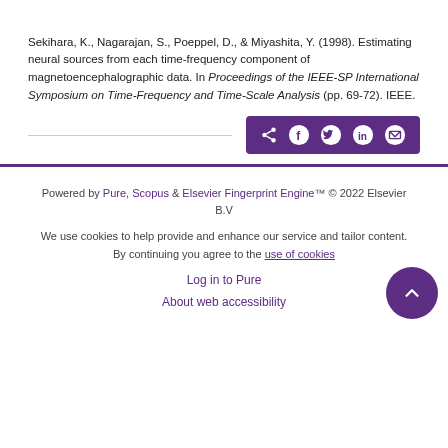Sekihara, K., Nagarajan, S., Poeppel, D., & Miyashita, Y. (1998). Estimating neural sources from each time-frequency component of magnetoencephalographic data. In Proceedings of the IEEE-SP International Symposium on Time-Frequency and Time-Scale Analysis (pp. 69-72). IEEE.
[Figure (other): Share bar with icons for share, Facebook, Twitter, LinkedIn, and email on a purple background]
Powered by Pure, Scopus & Elsevier Fingerprint Engine™ © 2022 Elsevier B.V
We use cookies to help provide and enhance our service and tailor content. By continuing you agree to the use of cookies
Log in to Pure
About web accessibility